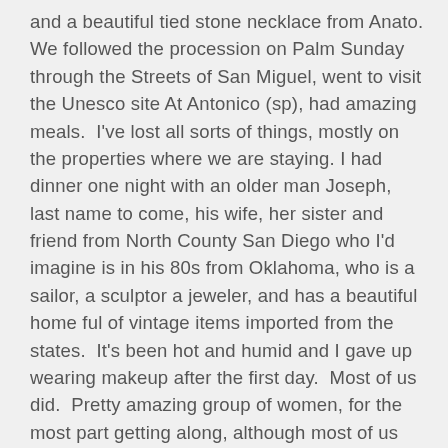and a beautiful tied stone necklace from Anato. We followed the procession on Palm Sunday through the Streets of San Miguel, went to visit the Unesco site At Antonico (sp), had amazing meals.  I've lost all sorts of things, mostly on the properties where we are staying. I had dinner one night with an older man Joseph, last name to come, his wife, her sister and friend from North County San Diego who I'd imagine is in his 80s from Oklahoma, who is a sailor, a sculptor a jeweler, and has a beautiful home ful of vintage items imported from the states.  It's been hot and humid and I gave up wearing makeup after the first day.  Most of us did.  Pretty amazing group of women, for the most part getting along, although most of us are pretty outspoken and a little bit cranky at some time of the day. Today is the last day and I feel like most of it has been in a fog.  Maybe it's the excess of Margaritas Salt and guacamole.  Dinners on the town have been really outstanding.  I'll have to devote an entire listing to the food alone.  The place we are staying is magical and colorful and centuries old.  The plumbing is so ancient we fan't